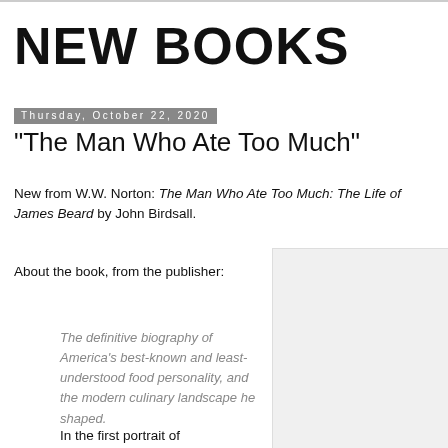NEW BOOKS
Thursday, October 22, 2020
"The Man Who Ate Too Much"
New from W.W. Norton: The Man Who Ate Too Much: The Life of James Beard by John Birdsall.
About the book, from the publisher:
[Figure (photo): Book cover image placeholder — light gray box]
The definitive biography of America's best-known and least-understood food personality, and the modern culinary landscape he shaped.
In the first portrait of